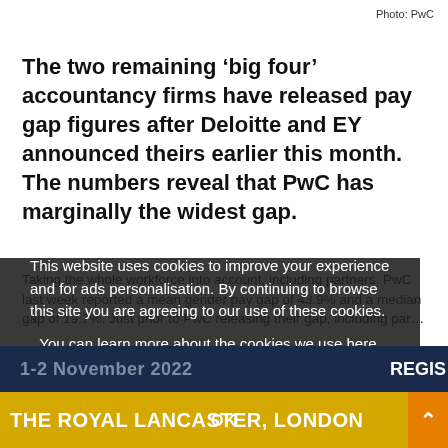Photo: PwC
The two remaining ‘big four’ accountancy firms have released pay gap figures after Deloitte and EY announced theirs earlier this month. The numbers reveal that PwC has marginally the widest gap.
Taking the whole workforce into account, including partners. PwC last week reported a mean gender pay gap of 43.9% and a median gap of 19.7%. Just prior to PwC releasing their gap, including partners
This website uses cookies to improve your experience and for ads personalisation. By continuing to browse this site you are agreeing to our use of these cookies. You can learn more about the cookies we use here.
1-2 November 2022
REGIS
THE ROYAL LANCASTER, LONDON
OK